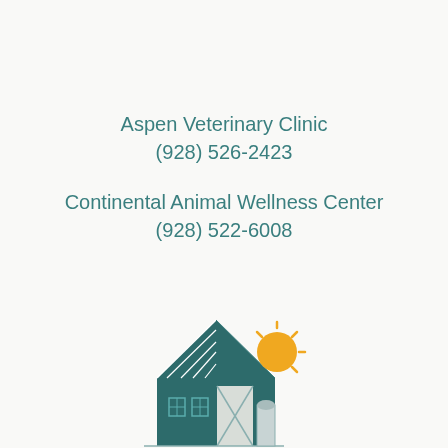Aspen Veterinary Clinic
(928) 526-2423

Continental Animal Wellness Center
(928) 522-6008
[Figure (illustration): A stylized illustration of a barn with a gambrel roof (white lines on dark teal), windows and a door visible. An orange sun with rays rises behind the upper right of the barn roofline.]